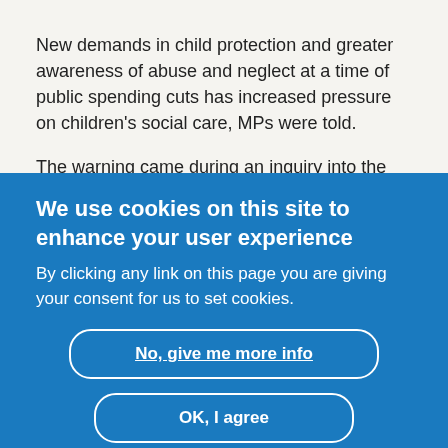New demands in child protection and greater awareness of abuse and neglect at a time of public spending cuts has increased pressure on children's social care, MPs were told.
The warning came during an inquiry into the funding of local authority children's services by the Westminster
We use cookies on this site to enhance your user experience
By clicking any link on this page you are giving your consent for us to set cookies.
No, give me more info
OK, I agree